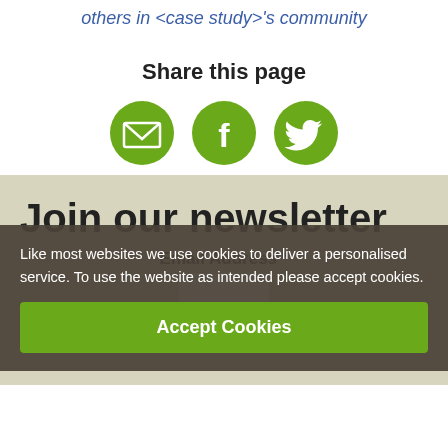others in <case study>'s community
Share this page
[Figure (infographic): Three green circular social sharing buttons: email (envelope icon), Facebook (f icon), Twitter (bird icon)]
Join our newsletter
Email Address *
First Name
Like most websites we use cookies to deliver a personalised service. To use the website as intended please accept cookies.
Accept Cookies